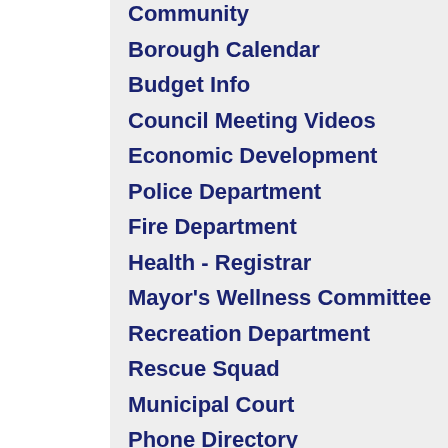Community
Borough Calendar
Budget Info
Council Meeting Videos
Economic Development
Police Department
Fire Department
Health - Registrar
Mayor's Wellness Committee
Recreation Department
Rescue Squad
Municipal Court
Phone Directory
Public Library
Public Works Department
Recycling
Senior Center
South Plainfield Business Association
SP Green Team
Tax Collector